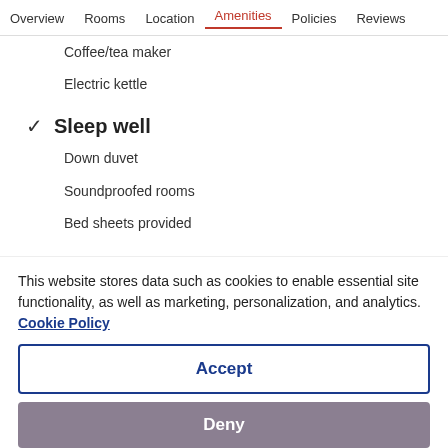Overview  Rooms  Location  Amenities  Policies  Reviews
Coffee/tea maker
Electric kettle
✓  Sleep well
Down duvet
Soundproofed rooms
Bed sheets provided
✓  Freshen up
This website stores data such as cookies to enable essential site functionality, as well as marketing, personalization, and analytics. Cookie Policy
Accept
Deny